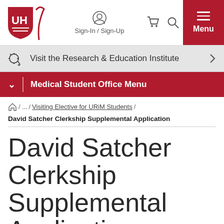[Figure (logo): University of Houston shield logo in red with UH letters]
Sign-In / Sign-Up | Cart | Search | Menu
Visit the Research & Education Institute
Medical Student Office Menu
/ ... / Visiting Elective for URiM Students / David Satcher Clerkship Supplemental Application
David Satcher Clerkship Supplemental Application